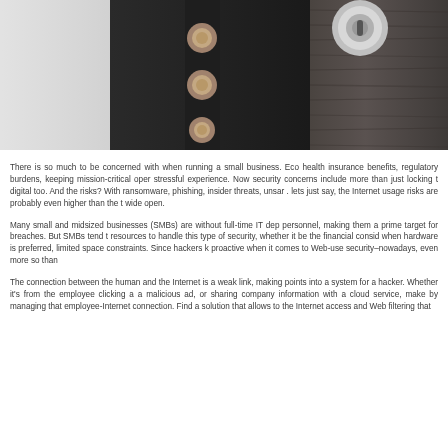[Figure (photo): Close-up photo of a door lock mechanism with multiple bolts/cylinders on a dark wooden door, with CyBlock CB logo overlaid in the lower left corner]
There is so much to be concerned with when running a small business. Eco health insurance benefits, regulatory burdens, keeping mission-critical oper stressful experience. Now security concerns include more than just locking t digital too. And the risks? With ransomware, phishing, insider threats, unsar . lets just say, the Internet usage risks are probably even higher than the t wide open.
Many small and midsized businesses (SMBs) are without full-time IT dep personnel, making them a prime target for breaches. But SMBs tend t resources to handle this type of security, whether it be the financial consid when hardware is preferred, limited space constraints. Since hackers k proactive when it comes to Web-use security–nowadays, even more so than
The connection between the human and the Internet is a weak link, making points into a system for a hacker. Whether it's from the employee clicking a a malicious ad, or sharing company information with a cloud service, make by managing that employee-Internet connection. Find a solution that allows to the Internet access and Web filtering that